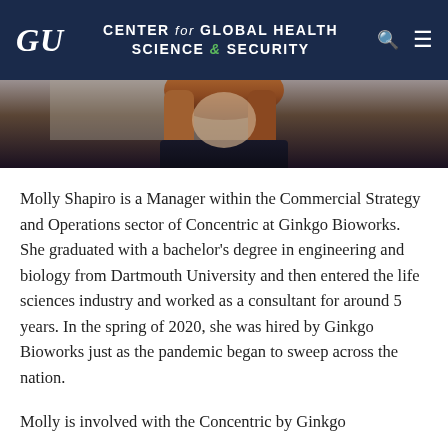GU | CENTER for GLOBAL HEALTH SCIENCE & SECURITY
[Figure (photo): Partial photograph of a person with red/auburn hair, partially visible from shoulders up, dark background]
Molly Shapiro is a Manager within the Commercial Strategy and Operations sector of Concentric at Ginkgo Bioworks. She graduated with a bachelor's degree in engineering and biology from Dartmouth University and then entered the life sciences industry and worked as a consultant for around 5 years. In the spring of 2020, she was hired by Ginkgo Bioworks just as the pandemic began to sweep across the nation.
Molly is involved with the Concentric by Ginkgo